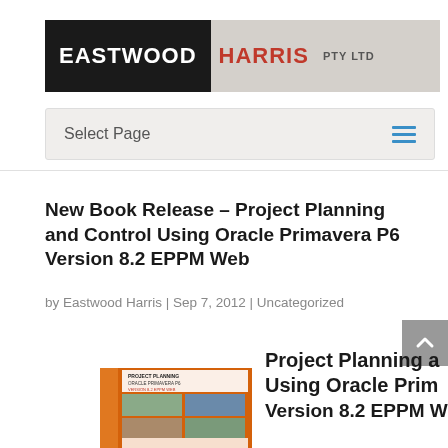[Figure (logo): Eastwood Harris Pty Ltd logo — black background with white EASTWOOD text, red HARRIS text, grey PTY LTD label on a light grey bar]
Select Page
New Book Release – Project Planning and Control Using Oracle Primavera P6 Version 8.2 EPPM Web
by Eastwood Harris | Sep 7, 2012 | Uncategorized
[Figure (photo): Book cover for Oracle Primavera P6 Version 8.2 EPPM Web, orange spine and cover with construction site imagery]
Project Planning a… Using Oracle Prim… Version 8.2 EPPM W…